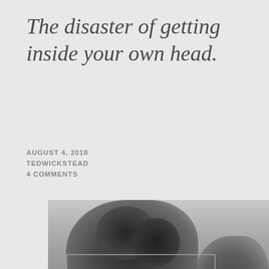The disaster of getting inside your own head.
AUGUST 4, 2018
TEDWICKSTEAD
4 COMMENTS
[Figure (photo): Black and white photograph of a large explosion/smoke cloud with a rectangular border overlay and bold text reading 'THE DISASTER OF GETTING INSIDE' overlaid in muted purple/mauve color]